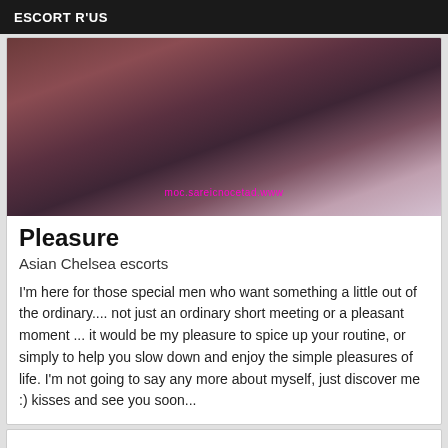ESCORT R'US
[Figure (photo): Close-up photo with magenta/purple tones, watermark text mirrored reading www.dateconcieras.com]
Pleasure
Asian Chelsea escorts
I'm here for those special men who want something a little out of the ordinary.... not just an ordinary short meeting or a pleasant moment ... it would be my pleasure to spice up your routine, or simply to help you slow down and enjoy the simple pleasures of life. I'm not going to say any more about myself, just discover me :) kisses and see you soon...